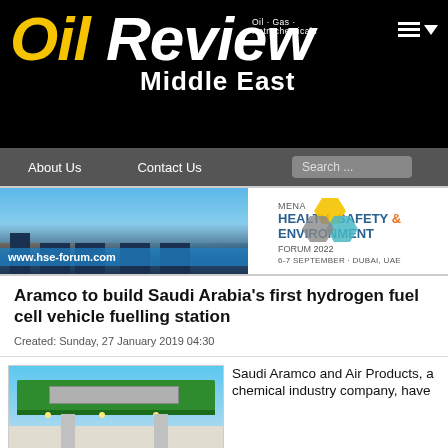[Figure (logo): Oil Review Middle East magazine logo — black background, yellow italic 'Oil' text, white italic 'Review' text, 'Middle East' subtitle in white bold, tagline 'Oil · Gas · Petrochemicals' in small white text, hamburger menu and dropdown arrow icons top right]
[Figure (screenshot): Navigation bar with About Us, Contact Us links and Search field on grey background]
[Figure (photo): MENA Health, Safety & Environment Forum 2022 banner ad — city skyline photo on left with www.hse-forum.com URL, hexagon logo and text on white right side, 6-7 September, Dubai, UAE]
Aramco to build Saudi Arabia's first hydrogen fuel cell vehicle fuelling station
Created: Sunday, 27 January 2019 04:30
[Figure (photo): Photograph of a green-canopied hydrogen fuelling station with grey roof panels and pillars, blue sky background]
Saudi Aramco and Air Products, a chemical industry company, have